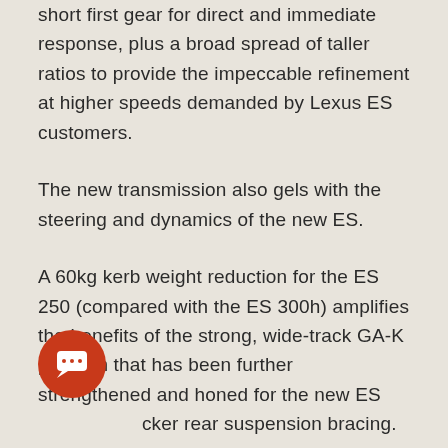short first gear for direct and immediate response, plus a broad spread of taller ratios to provide the impeccable refinement at higher speeds demanded by Lexus ES customers.
The new transmission also gels with the steering and dynamics of the new ES.
A 60kg kerb weight reduction for the ES 250 (compared with the ES 300h) amplifies the benefits of the strong, wide-track GA-K platform that has been further strengthened and honed for the new ES [stri]cker rear suspension bracing.
New dual-sheet construction for the rear suspension